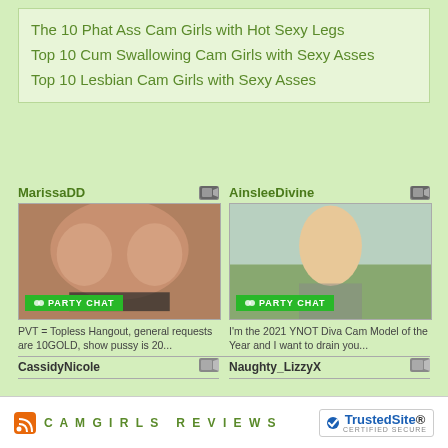The 10 Phat Ass Cam Girls with Hot Sexy Legs
Top 10 Cum Swallowing Cam Girls with Sexy Asses
Top 10 Lesbian Cam Girls with Sexy Asses
MarissaDD
PVT = Topless Hangout, general requests are 10GOLD, show pussy is 20...
CassidyNicole
AinsleeDivine
I'm the 2021 YNOT Diva Cam Model of the Year and I want to drain you...
Naughty_LizzyX
CAMGIRLS REVIEWS | TrustedSite CERTIFIED SECURE